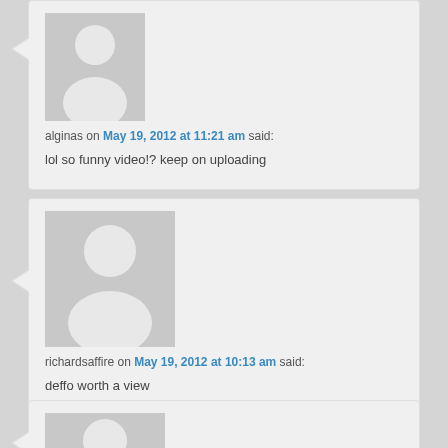[Figure (illustration): Generic user avatar placeholder (grey silhouette of a person)]
alginas on May 19, 2012 at 11:21 am said:
lol so funny video!? keep on uploading
[Figure (illustration): Generic user avatar placeholder (grey silhouette of a person)]
richardsaffire on May 19, 2012 at 10:13 am said:
deffo worth a view
[Figure (illustration): Generic user avatar placeholder (grey silhouette of a person), partially visible]